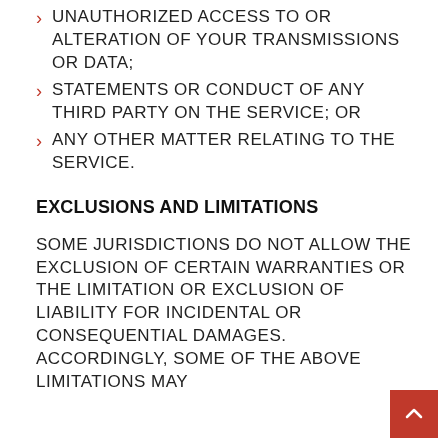UNAUTHORIZED ACCESS TO OR ALTERATION OF YOUR TRANSMISSIONS OR DATA;
STATEMENTS OR CONDUCT OF ANY THIRD PARTY ON THE SERVICE; OR
ANY OTHER MATTER RELATING TO THE SERVICE.
EXCLUSIONS AND LIMITATIONS
SOME JURISDICTIONS DO NOT ALLOW THE EXCLUSION OF CERTAIN WARRANTIES OR THE LIMITATION OR EXCLUSION OF LIABILITY FOR INCIDENTAL OR CONSEQUENTIAL DAMAGES. ACCORDINGLY, SOME OF THE ABOVE LIMITATIONS MAY